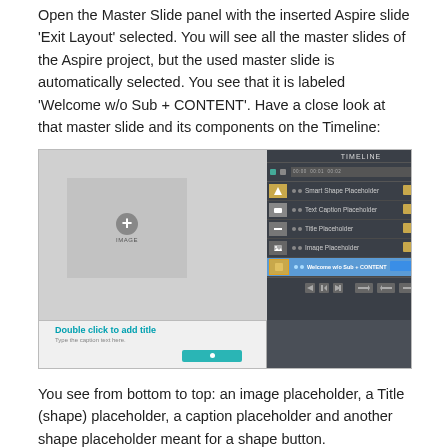Open the Master Slide panel with the inserted Aspire slide 'Exit Layout' selected. You will see all the master slides of the Aspire project, but the used master slide is automatically selected. You see that it is labeled 'Welcome w/o Sub + CONTENT'. Have a close look at that master slide and its components on the Timeline:
[Figure (screenshot): Screenshot of an eLearning authoring tool showing a master slide editor with a slide canvas on the left (containing an image placeholder with a plus icon) and a Timeline panel on the right listing: Smart Shape Placeholder, Text Caption Placeholder, Title Placeholder, Image Placeholder, and a selected 'Welcome w/o Sub + CONTENT' Slide entry. The bottom of the canvas shows 'Double click to add title', a caption text area, and a teal button.]
You see from bottom to top: an image placeholder,  a Title (shape) placeholder, a caption placeholder and another shape placeholder meant for a shape button.